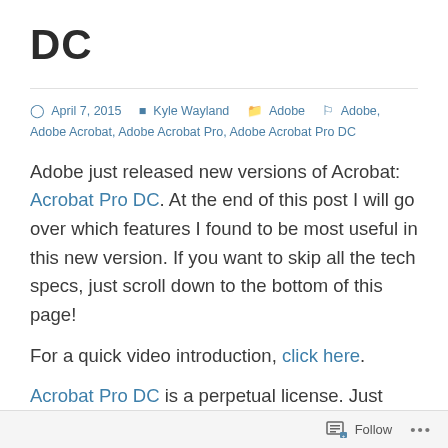DC
April 7, 2015   Kyle Wayland   Adobe   Adobe, Adobe Acrobat, Adobe Acrobat Pro, Adobe Acrobat Pro DC
Adobe just released new versions of Acrobat: Acrobat Pro DC. At the end of this post I will go over which features I found to be most useful in this new version. If you want to skip all the tech specs, just scroll down to the bottom of this page!
For a quick video introduction, click here.
Acrobat Pro DC is a perpetual license. Just
Follow ...